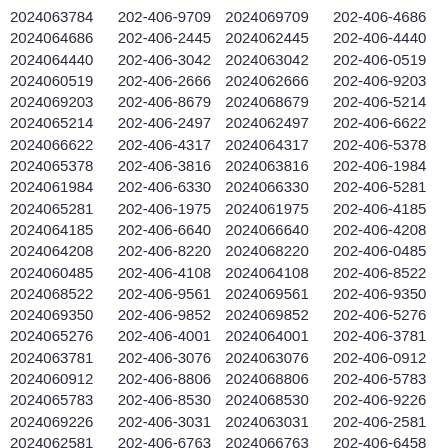2024063784 202-406-9709 2024069709 202-406-4686 2024064686 202-406-2445 2024062445 202-406-4440 2024064440 202-406-3042 2024063042 202-406-0519 2024060519 202-406-2666 2024062666 202-406-9203 2024069203 202-406-8679 2024068679 202-406-5214 2024065214 202-406-2497 2024062497 202-406-6622 2024066622 202-406-4317 2024064317 202-406-5378 2024065378 202-406-3816 2024063816 202-406-1984 2024061984 202-406-6330 2024066330 202-406-5281 2024065281 202-406-1975 2024061975 202-406-4185 2024064185 202-406-6640 2024066640 202-406-4208 2024064208 202-406-8220 2024068220 202-406-0485 2024060485 202-406-4108 2024064108 202-406-8522 2024068522 202-406-9561 2024069561 202-406-9350 2024069350 202-406-9852 2024069852 202-406-5276 2024065276 202-406-4001 2024064001 202-406-3781 2024063781 202-406-3076 2024063076 202-406-0912 2024060912 202-406-8806 2024068806 202-406-5783 2024065783 202-406-8530 2024068530 202-406-9226 2024069226 202-406-3031 2024063031 202-406-2581 2024062581 202-406-6763 2024066763 202-406-6458 2024066458 202-406-1979 2024061979 202-406-5006 2024065006 202-406-0696 2024060696 202-406-3888 2024063888 202-406-1950 2024061950 202-406-8577 2024068577 202-406-9009 2024069009 202-406-7795